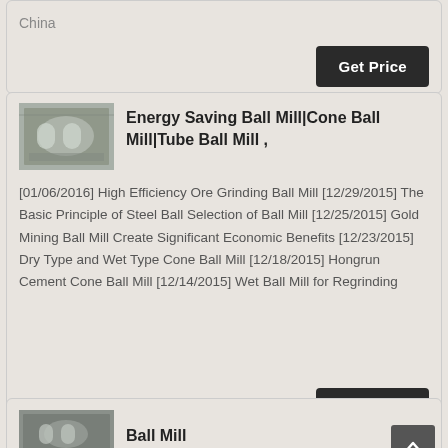China
Get Price
[Figure (photo): Industrial ball mill equipment inside a factory]
Energy Saving Ball Mill|Cone Ball Mill|Tube Ball Mill ,
[01/06/2016] High Efficiency Ore Grinding Ball Mill [12/29/2015] The Basic Principle of Steel Ball Selection of Ball Mill [12/25/2015] Gold Mining Ball Mill Create Significant Economic Benefits [12/23/2015] Dry Type and Wet Type Cone Ball Mill [12/18/2015] Hongrun Cement Cone Ball Mill [12/14/2015] Wet Ball Mill for Regrinding
Get Price
[Figure (photo): Industrial ball mill equipment]
Ball Mill